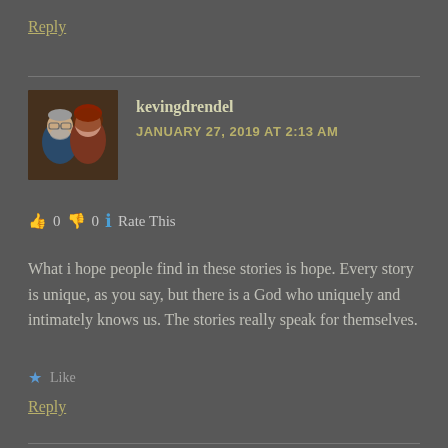Reply
[Figure (photo): Avatar photo of two people, a man with grey beard and a woman with red hair]
kevingdrendel
JANUARY 27, 2019 AT 2:13 AM
👍 0 👎 0 ℹ️ Rate This
What i hope people find in these stories is hope. Every story is unique, as you say, but there is a God who uniquely and intimately knows us. The stories really speak for themselves.
★ Like
Reply